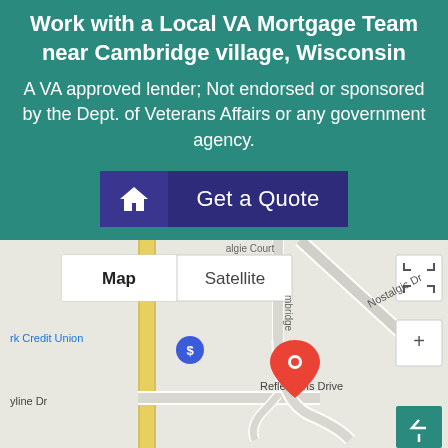Work with a Local VA Mortgage Team near Cambridge village, Wisconsin
A VA approved lender; Not endorsed or sponsored by the Dept. of Veterans Affairs or any government agency.
Get a Quote
[Figure (map): Google Maps view showing Cambridge village, Wisconsin area with Map/Satellite toggle, a red location pin near Reflections Drive, a blue dollar sign marker for a Credit Union, and street labels including Nostalgic Dr, Reflections Drive, and Skyline Dr.]